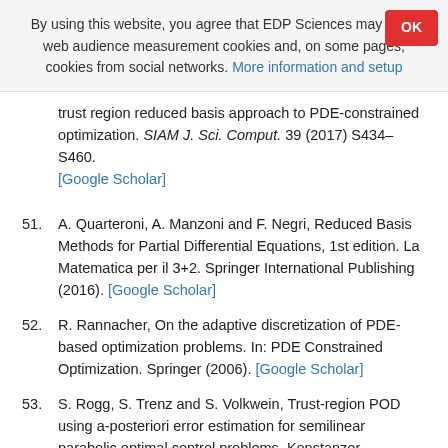By using this website, you agree that EDP Sciences may store web audience measurement cookies and, on some pages, cookies from social networks. More information and setup
trust region reduced basis approach to PDE-constrained optimization. SIAM J. Sci. Comput. 39 (2017) S434–S460. [Google Scholar]
51. A. Quarteroni, A. Manzoni and F. Negri, Reduced Basis Methods for Partial Differential Equations, 1st edition. La Matematica per il 3+2. Springer International Publishing (2016). [Google Scholar]
52. R. Rannacher, On the adaptive discretization of PDE-based optimization problems. In: PDE Constrained Optimization. Springer (2006). [Google Scholar]
53. S. Rogg, S. Trenz and S. Volkwein, Trust-region POD using a-posteriori error estimation for semilinear parabolic optimal control problems. Konstanzer